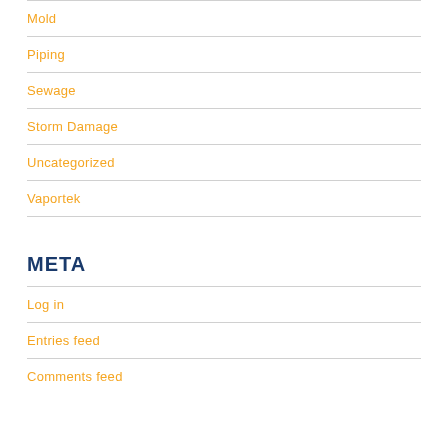Mold
Piping
Sewage
Storm Damage
Uncategorized
Vaportek
META
Log in
Entries feed
Comments feed